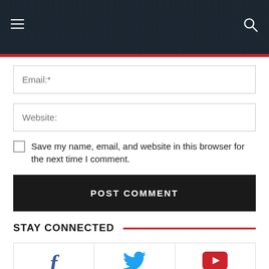Navigation header with hamburger menu and search icon
Email:*
Website:
Save my name, email, and website in this browser for the next time I comment.
POST COMMENT
STAY CONNECTED
[Figure (infographic): Social media stats: Facebook 0 Fans, Twitter 3,474 Followers, YouTube 20,000 Subscribers]